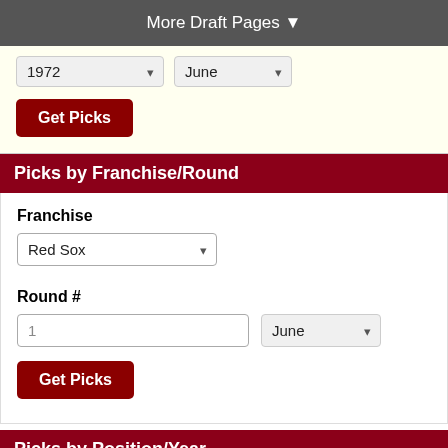More Draft Pages ▼
1972 | June | Get Picks (form controls)
Picks by Franchise/Round
Franchise
Red Sox (dropdown)
Round #
1 | June | Get Picks (form controls)
Picks by Position/Year
C (dropdown, partial)